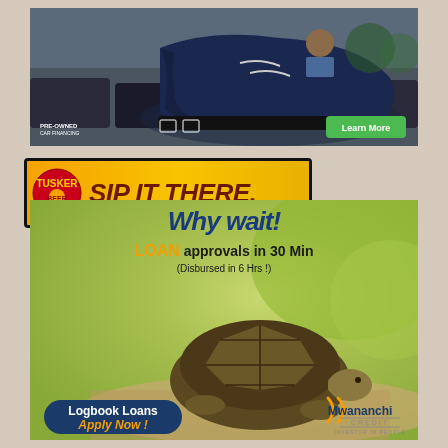[Figure (photo): Advertisement showing a large blue dress shoe in a parking lot with cars and a person sitting on the shoe. Features 'Pre-Owned Car Financing' label and a green 'Learn More' button.]
[Figure (photo): Tusker beer advertisement banner with orange/yellow gradient background, Tusker logo on left, and bold dark red italic text 'SIP IT THERE.' with black border.]
[Figure (photo): Mwananchi Credit loan advertisement showing a tortoise on a rock with green blurred background. Text reads 'Why wait!', 'LOAN approvals in 30 Min', '(Disbursed in 6 Hrs !)', 'Logbook Loans', 'Apply Now!' button, and Mwananchi Credit logo with 'INVESTOR IN PEOPLE' tagline.]